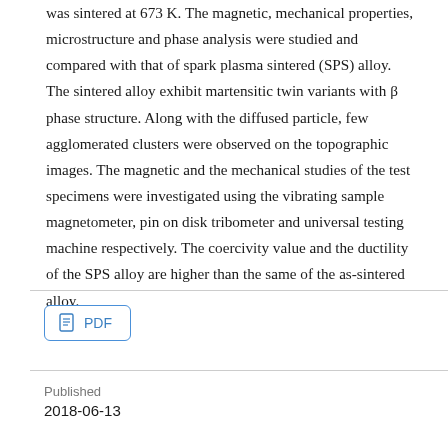was sintered at 673 K. The magnetic, mechanical properties, microstructure and phase analysis were studied and compared with that of spark plasma sintered (SPS) alloy. The sintered alloy exhibit martensitic twin variants with β phase structure. Along with the diffused particle, few agglomerated clusters were observed on the topographic images. The magnetic and the mechanical studies of the test specimens were investigated using the vibrating sample magnetometer, pin on disk tribometer and universal testing machine respectively. The coercivity value and the ductility of the SPS alloy are higher than the same of the as-sintered alloy.
[Figure (other): PDF download button with document icon]
Published
2018-06-13